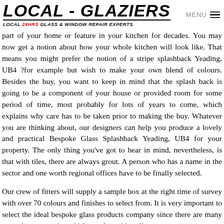LOCAL - GLAZIERS | LOCAL 24HRS GLASS & WINDOW REPAIR EXPERTS | MENU
part of your home or feature in your kitchen for decades. You may now get a notion about how your whole kitchen will look like. That means you might prefer the notion of a stripe splashback Yeading, UB4 ?for example but wish to make your own blend of colours. Besides the buy, you want to keep in mind that the splash back is going to be a component of your house or provided room for some period of time, most probably for lots of years to come, which explains why care has to be taken prior to making the buy. Whatever you are thinking about, our designers can help you produce a lovely and practical Bespoke Glass Splashback Yeading, UB4 for your property. The only thing you've got to bear in mind, nevertheless, is that with tiles, there are always grout. A person who has a name in the sector and one worth regional offices have to be finally selected.
Our crew of fitters will supply a sample box at the right time of survey with over 70 colours and finishes to select from. It is very important to select the ideal bespoke glass products company since there are many emerging companies which supply and install